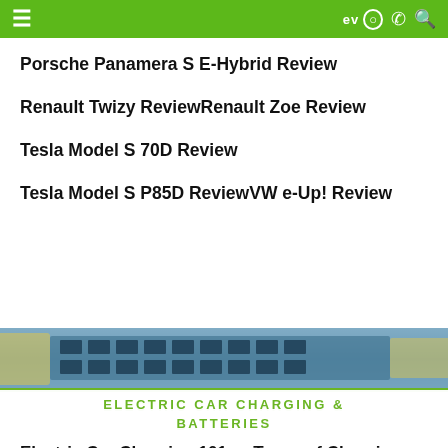EV [navigation bar with hamburger menu, EV logo, phone and search icons]
Porsche Panamera S E-Hybrid Review
Renault Twizy ReviewRenault Zoe Review
Tesla Model S 70D Review
Tesla Model S P85D ReviewVW e-Up! Review
[Figure (photo): Photo strip showing electric car battery/charging components in a workshop setting]
ELECTRIC CAR CHARGING & BATTERIES
Electric Car Charging 101 — Types of Charging, Charging Networks, Apps, & More!
Top Lithium-ion Battery Manufacturers
EV Battery Price Fall (2%) in Two Years...